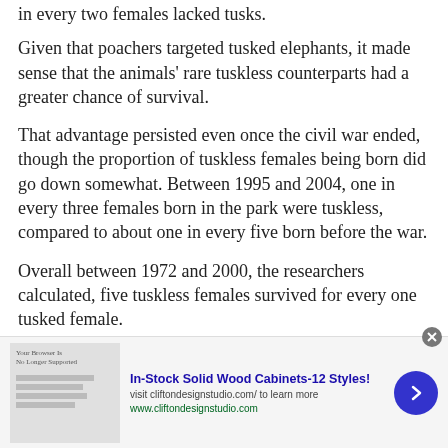in every two females lacked tusks.
Given that poachers targeted tusked elephants, it made sense that the animals' rare tuskless counterparts had a greater chance of survival.
That advantage persisted even once the civil war ended, though the proportion of tuskless females being born did go down somewhat. Between 1995 and 2004, one in every three females born in the park were tuskless, compared to about one in every five born before the war.
Overall between 1972 and 2000, the researchers calculated, five tuskless females survived for every one tusked female.
[Figure (other): Advertisement banner: In-Stock Solid Wood Cabinets-12 Styles! visit cliftondesignstudio.com/ to learn more. www.cliftondesignstudio.com. Blue arrow button on right. Close/X button at top right. Ad image placeholder on left showing browser no longer supported message and table graphic.]